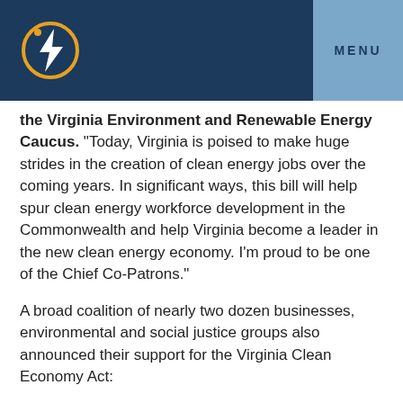MENU
[Figure (logo): Lightning bolt inside a circle with an orange ring, on a dark navy background — clean energy logo]
the Virginia Environment and Renewable Energy Caucus. "Today, Virginia is poised to make huge strides in the creation of clean energy jobs over the coming years. In significant ways, this bill will help spur clean energy workforce development in the Commonwealth and help Virginia become a leader in the new clean energy economy. I'm proud to be one of the Chief Co-Patrons."
A broad coalition of nearly two dozen businesses, environmental and social justice groups also announced their support for the Virginia Clean Economy Act:
"Achieving the goals of Gov. Northam's Executive Order on clean energy will be a win for Virginia